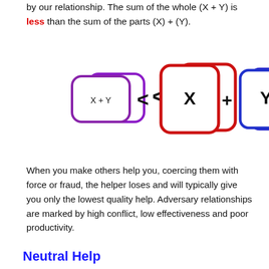by our relationship. The sum of the whole (X + Y) is less than the sum of the parts (X) + (Y).
[Figure (illustration): Diagram showing a small purple rounded rectangle labeled 'X + Y' is less than (<) a larger red rounded rectangle labeled 'X' plus (+) a medium blue rounded rectangle labeled 'Y'.]
When you make others help you, coercing them with force or fraud, the helper loses and will typically give you only the lowest quality help. Adversary relationships are marked by high conflict, low effectiveness and poor productivity.
Neutral Help